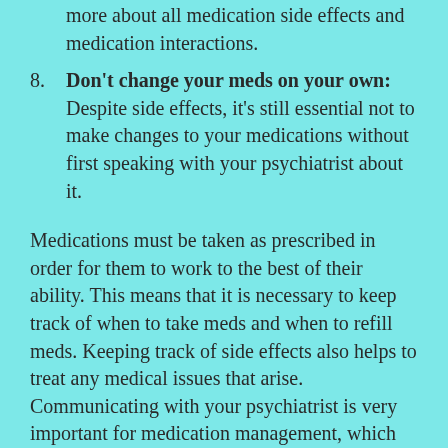more about all medication side effects and medication interactions.
8. Don't change your meds on your own: Despite side effects, it's still essential not to make changes to your medications without first speaking with your psychiatrist about it.
Medications must be taken as prescribed in order for them to work to the best of their ability. This means that it is necessary to keep track of when to take meds and when to refill meds. Keeping track of side effects also helps to treat any medical issues that arise. Communicating with your psychiatrist is very important for medication management, which helps to ensure the best outcome.